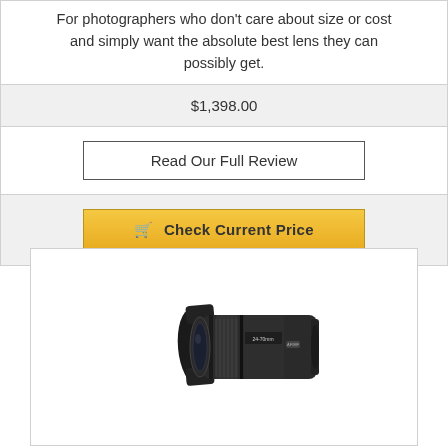For photographers who don't care about size or cost and simply want the absolute best lens they can possibly get.
$1,398.00
Read Our Full Review
🛒 Check Current Price
[Figure (photo): A black camera lens (zoom lens with lens hood attached) shown in a product photo against a white/light background]